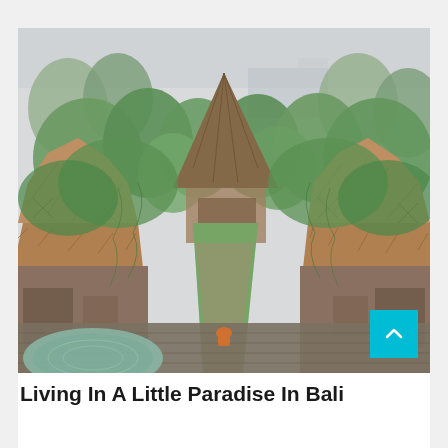[Figure (photo): Aerial view of traditional Balinese thatched-roof structures (joglo or nipa huts) with steep pointed roofs, surrounded by lush tropical vegetation including banana trees and palms. A central wooden pathway leads toward an open pavilion in the background. A person in orange sits near a circular pool/fountain in the foreground. The scene is a compound of wooden traditional buildings amid dense greenery.]
Living In A Little Paradise In Bali